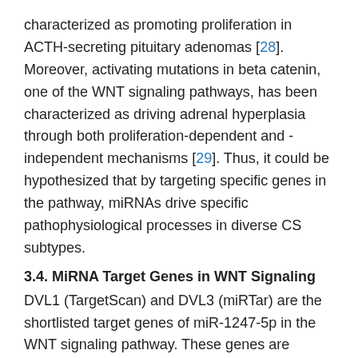characterized as promoting proliferation in ACTH-secreting pituitary adenomas [28]. Moreover, activating mutations in beta catenin, one of the WNT signaling pathways, has been characterized as driving adrenal hyperplasia through both proliferation-dependent and -independent mechanisms [29]. Thus, it could be hypothesized that by targeting specific genes in the pathway, miRNAs drive specific pathophysiological processes in diverse CS subtypes.
3.4. MiRNA Target Genes in WNT Signaling
DVL1 (TargetScan) and DVL3 (miRTar) are the shortlisted target genes of miR-1247-5p in the WNT signaling pathway. These genes are members of canonical WNT pathways and, importantly, activation of the cytoplasmic effector Dishevelled (Dvl) is a critical step in WNT/β-catenin signaling initiation [30,31]. Interestingly, no